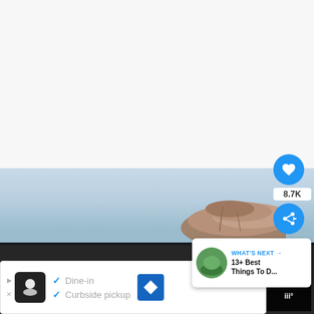[Figure (photo): Top white/grey blank area of a webpage]
[Figure (photo): Landscape photo showing light blue sky and rock formations]
We use cookies to ensure that we give you the best experience on our website. If you continue to use this site we will assume that you are happy with it.
WHAT'S NEXT → 13+ Best Things To D...
Dine-in
Curbside pickup